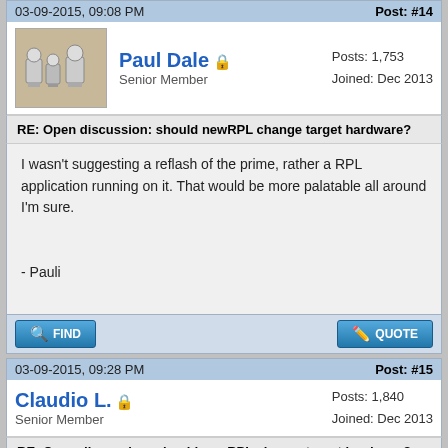03-09-2015, 09:08 PM    Post: #14
Paul Dale  Senior Member  Posts: 1,753  Joined: Dec 2013
RE: Open discussion: should newRPL change target hardware?
I wasn't suggesting a reflash of the prime, rather a RPL application running on it. That would be more palatable all around I'm sure.

- Pauli
03-09-2015, 09:28 PM    Post: #15
Claudio L.  Senior Member  Posts: 1,840  Joined: Dec 2013
RE: Open discussion: should newRPL change target hardware?
Paul Dale Wrote:  (03-09-2015 09:08 PM)
I wasn't suggesting a reflash of the prime, rather a RPL application running on it. That would be more palatable all around I'm sure.